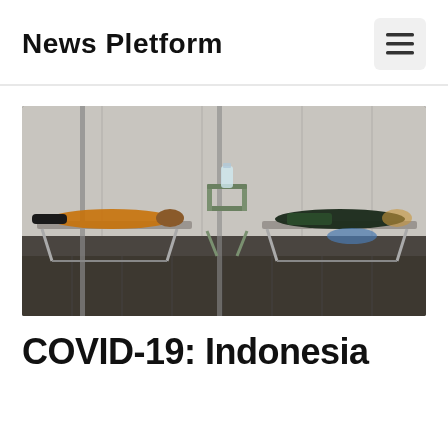News Pletform
[Figure (photo): Two people lying on folding cots/stretchers inside a temporary medical tent or shelter, with white plastic sheeting walls visible in the background. A folding chair is visible between them. The scene depicts COVID-19 patient care in Indonesia.]
COVID-19: Indonesia